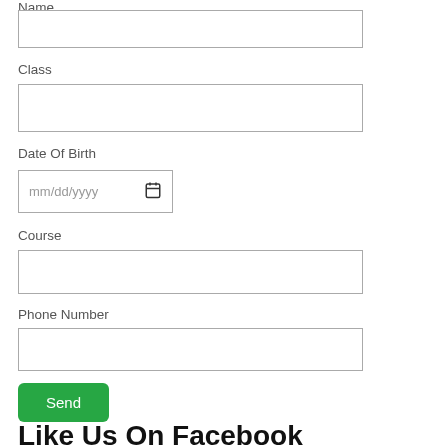Name
Class
Date Of Birth
Course
Phone Number
Send
Like Us On Facebook